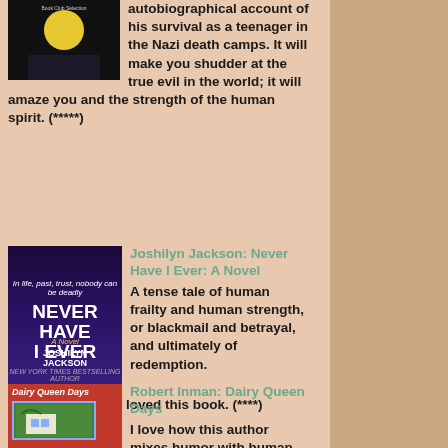autobiographical account of his survival as a teenager in the Nazi death camps. It will make you shudder at the true evil in the world; it will amaze you and the strength of the human spirit. (*****)
[Figure (photo): Book cover for a Holocaust memoir, dark background with moon imagery]
Joshilyn Jackson: Never Have I Ever: A Novel
[Figure (photo): Book cover: Never Have I Ever by Joshilyn Jackson, dark purple background with white large text]
A tense tale of human frailty and human strength, or blackmail and betrayal, and ultimately of redemption. A fan of thrillers, I loved this book. (****)
Robert Inman: Dairy Queen Days
[Figure (photo): Book cover: Dairy Queen Days by Robert Inman, red background with illustrated scene]
I love how this author mixes humor with human tragedy. This story takes